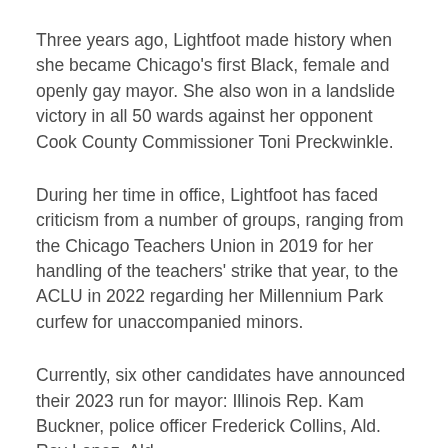Three years ago, Lightfoot made history when she became Chicago's first Black, female and openly gay mayor. She also won in a landslide victory in all 50 wards against her opponent Cook County Commissioner Toni Preckwinkle.
During her time in office, Lightfoot has faced criticism from a number of groups, ranging from the Chicago Teachers Union in 2019 for her handling of the teachers' strike that year, to the ACLU in 2022 regarding her Millennium Park curfew for unaccompanied minors.
Currently, six other candidates have announced their 2023 run for mayor: Illinois Rep. Kam Buckner, police officer Frederick Collins, Ald. Ray Lopez, Ald. Roderick Sawyer, former Chicago Public Schools...